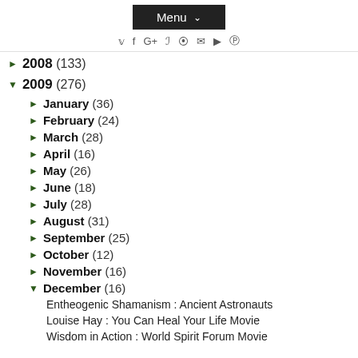Menu ▾
▶ 2008 (133)
▼ 2009 (276)
▶ January (36)
▶ February (24)
▶ March (28)
▶ April (16)
▶ May (26)
▶ June (18)
▶ July (28)
▶ August (31)
▶ September (25)
▶ October (12)
▶ November (16)
▼ December (16)
Entheogenic Shamanism : Ancient Astronauts
Louise Hay : You Can Heal Your Life Movie
Wisdom in Action : World Spirit Forum Movie